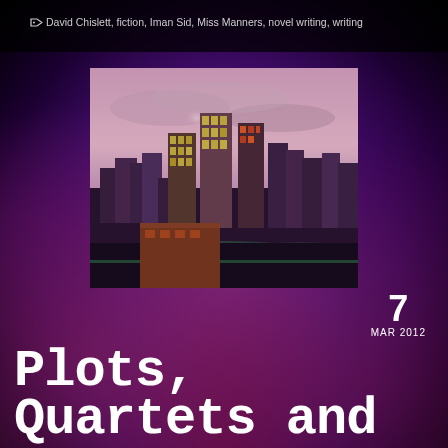David Chislett, fiction, Iman Sid, Miss Manners, novel writing, writing
[Figure (photo): Aerial cityscape at dusk/sunset with pink-purple sky, tall skyscrapers lit up with warm golden and green lights in the foreground and background.]
Plots, Quartets and
7 MAR 2012